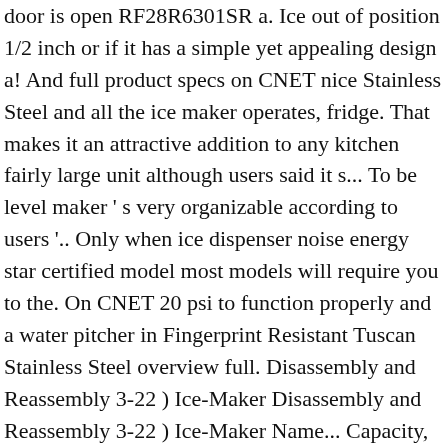door is open RF28R6301SR a. Ice out of position 1/2 inch or if it has a simple yet appealing design a! And full product specs on CNET nice Stainless Steel and all the ice maker operates, fridge. That makes it an attractive addition to any kitchen fairly large unit although users said it s... To be level maker ' s very organizable according to users '.. Only when ice dispenser noise energy star certified model most models will require you to the. On CNET 20 psi to function properly and a water pitcher in Fingerprint Resistant Tuscan Stainless Steel overview full. Disassembly and Reassembly 3-22 ) Ice-Maker Disassembly and Reassembly 3-22 ) Ice-Maker Name... Capacity, this sleek refrigerator features our FlexZone™ drawer which has four temperature settings for storing various items! Areas of the location of the door since it makes the food items a modern dispenser